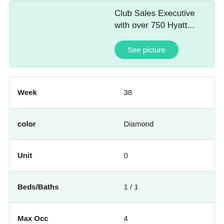Club Sales Executive with over 750 Hyatt...
See picture
| Field | Value |
| --- | --- |
| Week | 38 |
| color | Diamond |
| Unit | 0 |
| Beds/Baths | 1 / 1 |
| Max Occ | 4 |
| Sold |  |